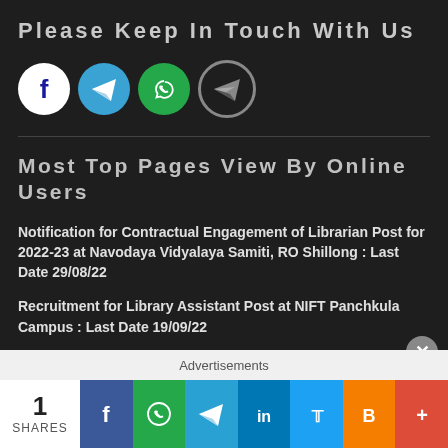Please Keep In Touch With Us
[Figure (infographic): Social media icons row: Facebook (white circle), Telegram (blue circle), WhatsApp (green circle), Telegram (white/grey outline circle)]
Most Top Pages View By Online Users
Notification for Contractual Engagement of Librarian Post for 2022-23 at Navodaya Vidyalaya Samiti, RO Shillong : Last Date 29/08/22
Recruitment for Library Assistant Post at NIFT Panchkula Campus : Last Date 19/09/22
Recruitment for Library Professional Post at Indian Institute
Advertisements
[Figure (infographic): Share bar at bottom: count '1 SHARES', then Facebook, WhatsApp, Telegram, LinkedIn, Twitter, Blogger, plus buttons]